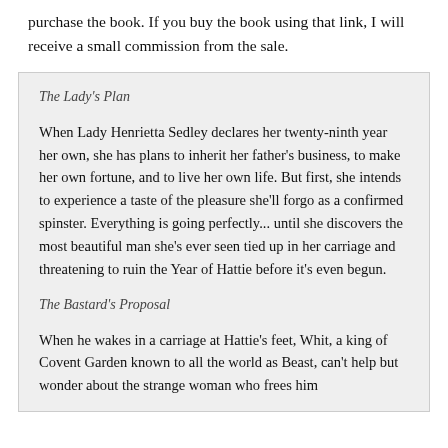purchase the book. If you buy the book using that link, I will receive a small commission from the sale.
The Lady's Plan
When Lady Henrietta Sedley declares her twenty-ninth year her own, she has plans to inherit her father's business, to make her own fortune, and to live her own life. But first, she intends to experience a taste of the pleasure she'll forgo as a confirmed spinster. Everything is going perfectly... until she discovers the most beautiful man she's ever seen tied up in her carriage and threatening to ruin the Year of Hattie before it's even begun.
The Bastard's Proposal
When he wakes in a carriage at Hattie's feet, Whit, a king of Covent Garden known to all the world as Beast, can't help but wonder about the strange woman who frees him